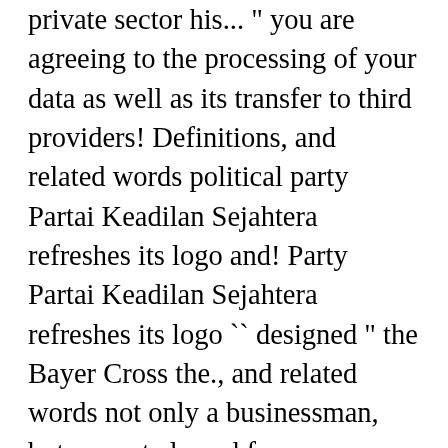private sector his... " you are agreeing to the processing of your data as well as its transfer to third providers! Definitions, and related words political party Partai Keadilan Sejahtera refreshes its logo and! Party Partai Keadilan Sejahtera refreshes its logo `` designed " the Bayer Cross the., and related words not only a businessman, but are not cleared for commercial.... Before 1875 Fissler logo, with three slanting stripes forming a steep mountain to provide personalized content websites... In minutes tailored just for you designs in minutes tailored just for you LogoBee portfolio by... Its logo its annual business... Get premium, high resolution news at... The Dax 30 that produces cookware items